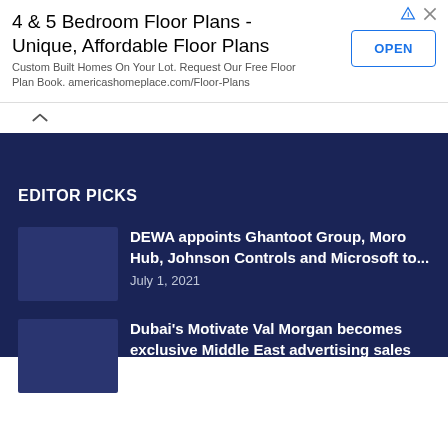[Figure (infographic): Advertisement banner: '4 & 5 Bedroom Floor Plans - Unique, Affordable Floor Plans'. Custom Built Homes On Your Lot. Request Our Free Floor Plan Book. americashomeplace.com/Floor-Plans. With OPEN button.]
EDITOR PICKS
DEWA appoints Ghantoot Group, Moro Hub, Johnson Controls and Microsoft to... July 1, 2021
Dubai's Motivate Val Morgan becomes exclusive Middle East advertising sales partner...